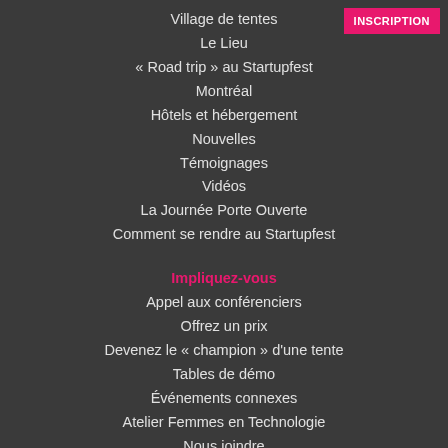Village de tentes
Le Lieu
« Road trip » au Startupfest
Montréal
Hôtels et hébergement
Nouvelles
Témoignages
Vidéos
La Journée Porte Ouverte
Comment se rendre au Startupfest
Impliquez-vous
Appel aux conférenciers
Offrez un prix
Devenez le « champion » d'une tente
Tables de démo
Événements connexes
Atelier Femmes en Technologie
Nous joindre
Inscription pour Startupfest | 10-14 juillet 2018
Commanditaires, partenaires et amis
Code de conduite